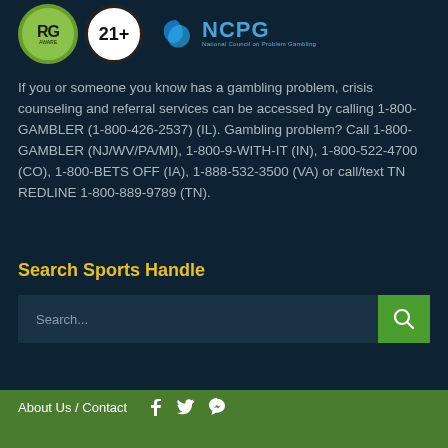[Figure (logo): Three logos: RG (Responsible Gambling) circular green logo, 21+ age restriction circular logo, and NCPG (National Council on Problem Gambling) logo with blue swirl icon]
If you or someone you know has a gambling problem, crisis counseling and referral services can be accessed by calling 1-800-GAMBLER (1-800-426-2537) (IL). Gambling problem? Call 1-800-GAMBLER (NJ/WV/PA/MI), 1-800-9-WITH-IT (IN), 1-800-522-4700 (CO), 1-800-BETS OFF (IA), 1-888-532-3500 (VA) or call/text TN REDLINE 1-800-889-9789 (TN).
Search Sports Handle
Search...
About Us / Contact